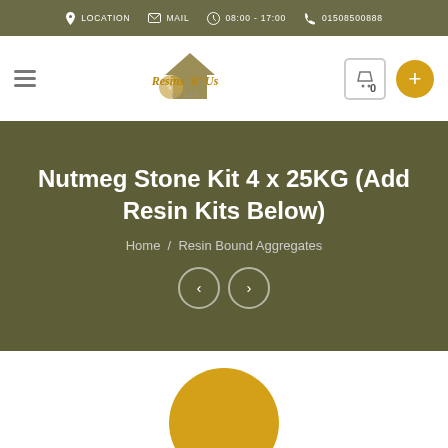LOCATION  MAIL  08:00 - 17:00  01508500888
[Figure (logo): Resins 'R' Us UK Ltd logo with house and stone graphic]
Nutmeg Stone Kit 4 x 25KG (Add Resin Kits Below)
Home / Resin Bound Aggregates